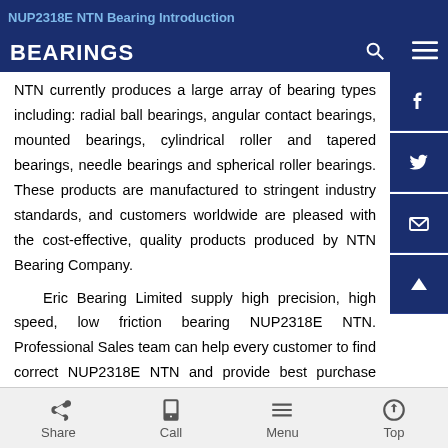NUP2318E NTN Bearing Introduction
BEARINGS
NTN currently produces a large array of bearing types including: radial ball bearings, angular contact bearings, mounted bearings, cylindrical roller and tapered bearings, needle bearings and spherical roller bearings. These products are manufactured to stringent industry standards, and customers worldwide are pleased with the cost-effective, quality products produced by NTN Bearing Company.
Eric Bearing Limited supply high precision, high speed, low friction bearing NUP2318E NTN. Professional Sales team can help every customer to find correct NUP2318E NTN and provide best purchase solution . If you find NUP2318E NTN that you need , pls do not hesitate to contact us.
Share  Call  Menu  Top